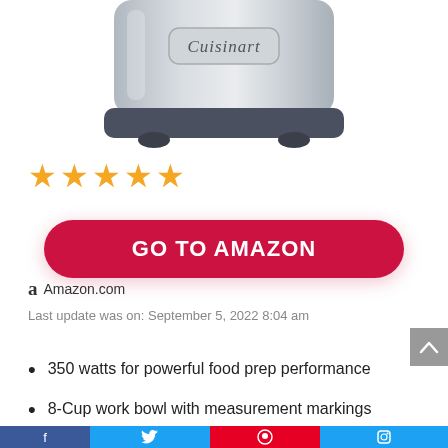[Figure (photo): Bottom portion of a Cuisinart stainless steel food processor with dark gray base, showing the Cuisinart logo on the top]
★★★★★
GO TO AMAZON
Amazon.com
Last update was on: September 5, 2022 8:04 am
350 watts for powerful food prep performance
8-Cup work bowl with measurement markings
Reversible shredding and slicing discs - medium to